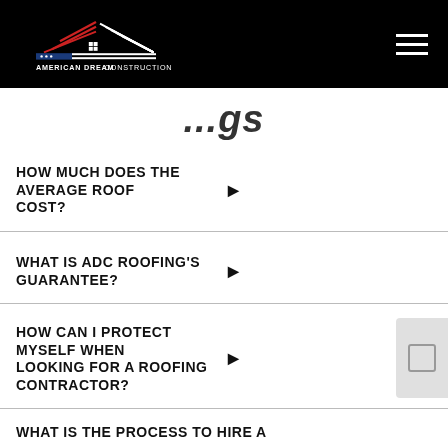American Dream Construction
...tags (partial)
HOW MUCH DOES THE AVERAGE ROOF COST?
WHAT IS ADC ROOFING'S GUARANTEE?
HOW CAN I PROTECT MYSELF WHEN LOOKING FOR A ROOFING CONTRACTOR?
WHAT IS THE PROCESS TO HIRE A... (partial)